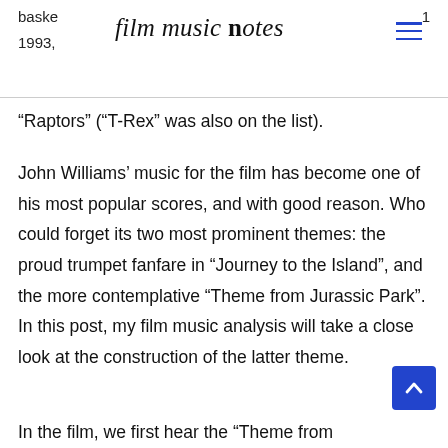baske ... 1993, ... film music notes
“Raptors” (“T-Rex” was also on the list).
John Williams’ music for the film has become one of his most popular scores, and with good reason. Who could forget its two most prominent themes: the proud trumpet fanfare in “Journey to the Island”, and the more contemplative “Theme from Jurassic Park”. In this post, my film music analysis will take a close look at the construction of the latter theme.
In the film, we first hear the “Theme from